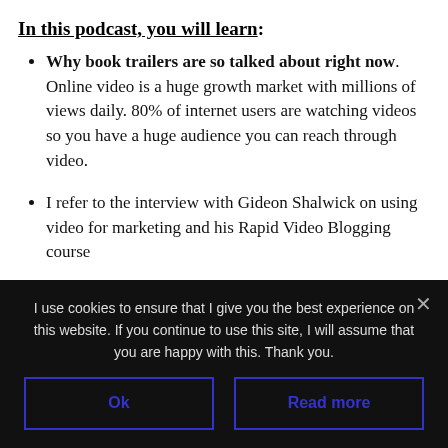In this podcast, you will learn:
Why book trailers are so talked about right now. Online video is a huge growth market with millions of views daily. 80% of internet users are watching videos so you have a huge audience you can reach through video.
I refer to the interview with Gideon Shalwick on using video for marketing and his Rapid Video Blogging course
I use cookies to ensure that I give you the best experience on this website. If you continue to use this site, I will assume that you are happy with this. Thank you.